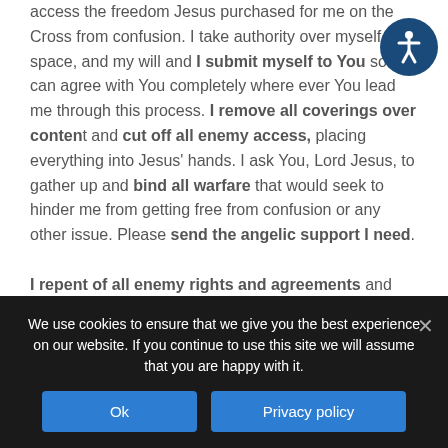access the freedom Jesus purchased for me on the Cross from confusion. I take authority over myself, my space, and my will and I submit myself to You so I can agree with You completely where ever You lead me through this process. I remove all coverings over content and cut off all enemy access, placing everything into Jesus' hands. I ask You, Lord Jesus, to gather up and bind all warfare that would seek to hinder me from getting free from confusion or any other issue. Please send the angelic support I need.

I repent of all enemy rights and agreements and suspend them and all areas of access he has to me. I place them into
We use cookies to ensure that we give you the best experience on our website. If you continue to use this site we will assume that you are happy with it.